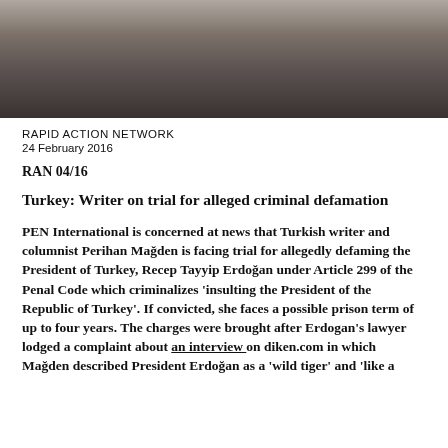[Figure (photo): Photograph of a person (Perihan Mağden) in a dark top, partially visible, cropped at top of page.]
RAPID ACTION NETWORK
24 February 2016
RAN 04/16
Turkey: Writer on trial for alleged criminal defamation
PEN International is concerned at news that Turkish writer and columnist Perihan Mağden is facing trial for allegedly defaming the President of Turkey, Recep Tayyip Erdoğan under Article 299 of the Penal Code which criminalizes 'insulting the President of the Republic of Turkey'.  If convicted, she faces a possible prison term of up to four years. The charges were brought after Erdogan's lawyer lodged a complaint about an interview on diken.com in which Mağden described President Erdoğan as a 'wild tiger' and 'like a